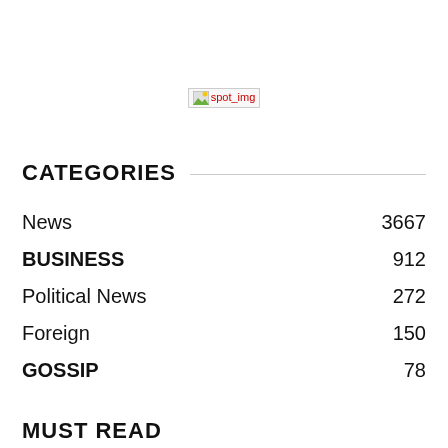[Figure (other): Broken image placeholder showing 'spot_img' text in red with image icon]
CATEGORIES
News  3667
BUSINESS  912
Political News  272
Foreign  150
GOSSIP  78
MUST READ